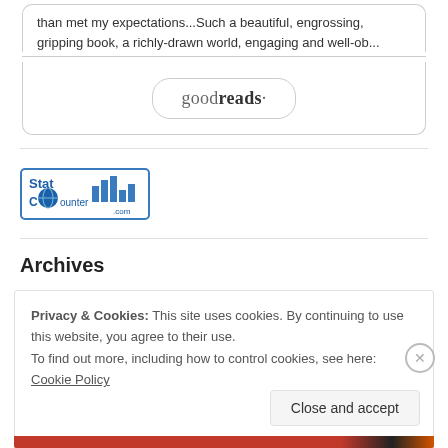than met my expectations...Such a beautiful, engrossing, gripping book, a richly-drawn world, engaging and well-ob...
[Figure (logo): Goodreads button/widget with rounded rectangle border]
[Figure (logo): StatCounter.com logo badge with bar chart icon]
Archives
Privacy & Cookies: This site uses cookies. By continuing to use this website, you agree to their use.
To find out more, including how to control cookies, see here: Cookie Policy
Close and accept